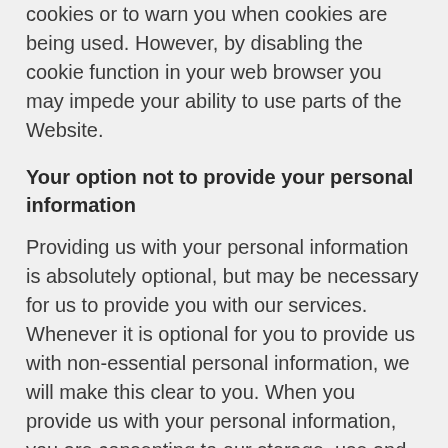cookies or to warn you when cookies are being used. However, by disabling the cookie function in your web browser you may impede your ability to use parts of the Website.
Your option not to provide your personal information
Providing us with your personal information is absolutely optional, but may be necessary for us to provide you with our services. Whenever it is optional for you to provide us with non-essential personal information, we will make this clear to you. When you provide us with your personal information, you are consenting to our storage, use and disclosure of that information as outlined in this Website Privacy Policy.
We may from time to time run competitions or offer additional benefits to you and we may ask you to provide